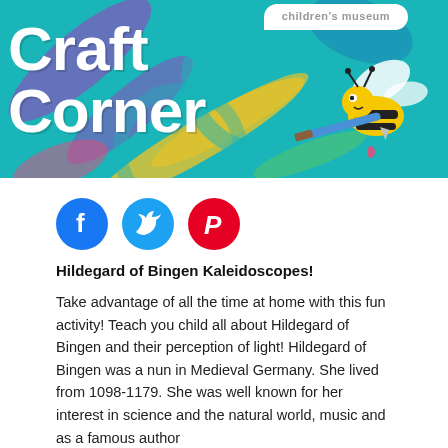[Figure (illustration): Craft Corner banner with teal background, colorful paint strokes, cartoon bee holding a paintbrush, speech bubble saying 'children's museum', and large white bold text reading 'Craft Corner']
[Figure (infographic): Social media icons: Facebook (blue circle with f), Twitter (light blue circle with bird), Pinterest (red circle with P logo)]
Hildegard of Bingen Kaleidoscopes!
Take advantage of all the time at home with this fun activity! Teach you child all about Hildegard of Bingen and their perception of light! Hildegard of Bingen was a nun in Medieval Germany. She lived from 1098-1179. She was well known for her interest in science and the natural world, music and as a famous author